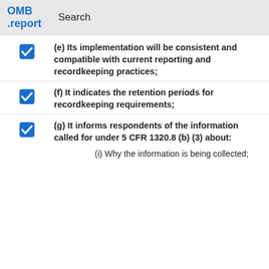OMB .report   Search
(e) Its implementation will be consistent and compatible with current reporting and recordkeeping practices;
(f) It indicates the retention periods for recordkeeping requirements;
(g) It informs respondents of the information called for under 5 CFR 1320.8 (b) (3) about:
(i) Why the information is being collected;